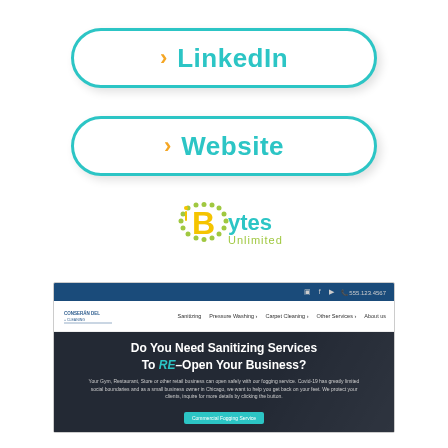[Figure (infographic): LinkedIn button pill with teal border, orange chevron, and teal bold text]
[Figure (infographic): Website button pill with teal border, orange chevron, and teal bold text]
[Figure (logo): Bytes Unlimited logo with dotted B icon and yellow/green text]
[Figure (screenshot): Screenshot of a cleaning services website with navy top bar, navigation, and hero section reading 'Do You Need Sanitizing Services To RE-Open Your Business?']